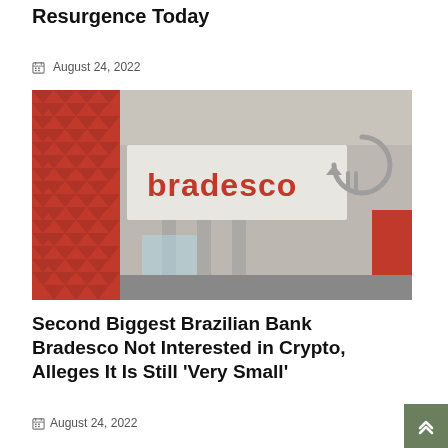Resurgence Today
August 24, 2022
[Figure (photo): Exterior of a Bradesco bank branch showing the red 'bradesco' logo sign on a light concrete facade, with a red geometric patterned wall on the left side and bank interior visible through glass at the bottom.]
Second Biggest Brazilian Bank Bradesco Not Interested in Crypto, Alleges It Is Still ‘Very Small’
August 24, 2022